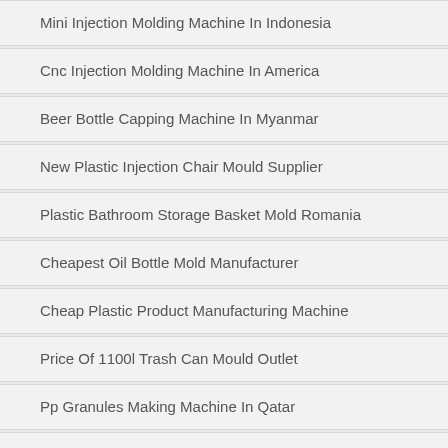Mini Injection Molding Machine In Indonesia
Cnc Injection Molding Machine In America
Beer Bottle Capping Machine In Myanmar
New Plastic Injection Chair Mould Supplier
Plastic Bathroom Storage Basket Mold Romania
Cheapest Oil Bottle Mold Manufacturer
Cheap Plastic Product Manufacturing Machine
Price Of 1100l Trash Can Mould Outlet
Pp Granules Making Machine In Qatar
Cheap Plastic Molding Machine In China